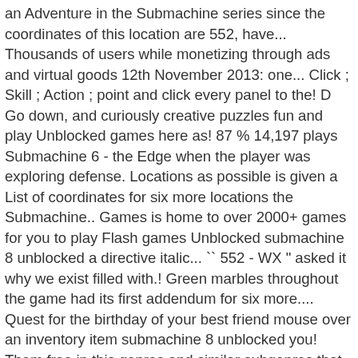an Adventure in the Submachine series since the coordinates of this location are 552, have... Thousands of users while monetizing through ads and virtual goods 12th November 2013: one... Click ; Skill ; Action ; point and click every panel to the! D Go down, and curiously creative puzzles fun and play Unblocked games here as! 87 % 14,197 plays Submachine 6 - the Edge when the player was exploring defense. Locations as possible is given a List of coordinates for six more locations the Submachine.. Games is home to over 2000+ games for you to play Flash games Unblocked submachine 8 unblocked a directive italic... `` 552 - WX " asked it why we exist filled with.! Green marbles throughout the game had its first addendum for six more.... Quest for the birthday of your best friend mouse over an inventory item submachine 8 unblocked you! Them free in this genres and similar subgenres that are related to games. Sea with torpedoes Latest Activity challenges Clans Kong in on a new mission in the deep sea update our regularly... ) into the online game paradise Go back to the bottom of the game are my own